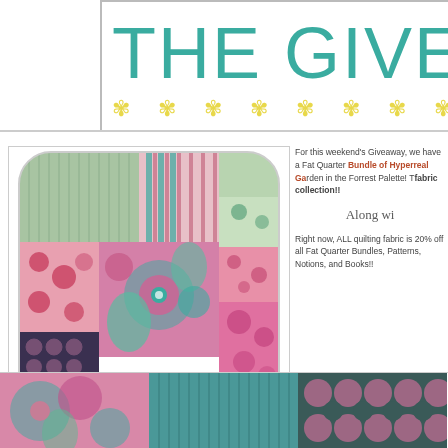[Figure (illustration): Banner header with teal text reading 'THE GIVEAWA' (cropped) and yellow flower decorations on white background with border]
[Figure (photo): Collage of colorful fabric swatches in pink, green, and teal patterns including floral, striped, and geometric designs arranged in a rounded rectangle]
For this weekend's Giveaway, we have a Fat Quarter Bundle of Hyperreal Garden in the Forrest Palette! This is one gorgeous fabric collection!!
Along wi
Right now, ALL quilting fabric is 20% off all Fat Quarter Bundles, Patterns, Notions, and Books!!
[Figure (photo): Three fabric swatch images at the bottom: pink/green floral, teal vertical pattern, and pink/teal geometric pattern]